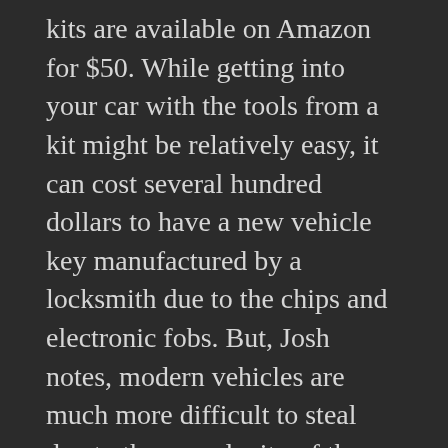kits are available on Amazon for $50. While getting into your car with the tools from a kit might be relatively easy, it can cost several hundred dollars to have a new vehicle key manufactured by a locksmith due to the chips and electronic fobs. But, Josh notes, modern vehicles are much more difficult to steal due to the complexity of the keys.
SECURITY 101. Josh advocates for every residence to have a deadbolt on exterior doors. In addition, the plate should be screwed into the support frame (not trim) of the door. This is often accomplished by using 3 inch screws. Another tip is to bathe your house and property